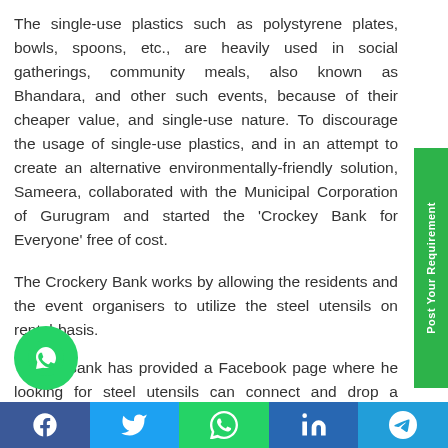The single-use plastics such as polystyrene plates, bowls, spoons, etc., are heavily used in social gatherings, community meals, also known as Bhandara, and other such events, because of their cheaper value, and single-use nature. To discourage the usage of single-use plastics, and in an attempt to create an alternative environmentally-friendly solution, Sameera, collaborated with the Municipal Corporation of Gurugram and started the 'Crockey Bank for Everyone' free of cost.
The Crockery Bank works by allowing the residents and the event organisers to utilize the steel utensils on rental-basis.
Bank has provided a Facebook page where he looking for steel utensils can connect and drop a message. They can later collect the utensils
[Figure (other): Green sidebar with rotated text 'Post Your Requirement']
[Figure (other): WhatsApp floating button (green circle with WhatsApp icon)]
[Figure (other): Social share bar at bottom with Facebook, Twitter, WhatsApp, LinkedIn, Telegram buttons]